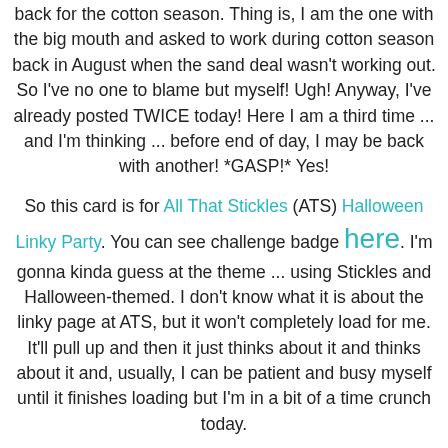back for the cotton season. Thing is, I am the one with the big mouth and asked to work during cotton season back in August when the sand deal wasn't working out. So I've no one to blame but myself! Ugh! Anyway, I've already posted TWICE today! Here I am a third time ... and I'm thinking ... before end of day, I may be back with another! *GASP!* Yes!
So this card is for All That Stickles (ATS) Halloween Linky Party. You can see challenge badge here. I'm gonna kinda guess at the theme ... using Stickles and Halloween-themed. I don't know what it is about the linky page at ATS, but it won't completely load for me. It'll pull up and then it just thinks about it and thinks about it and, usually, I can be patient and busy myself until it finishes loading but I'm in a bit of a time crunch today.
So, here's my card: